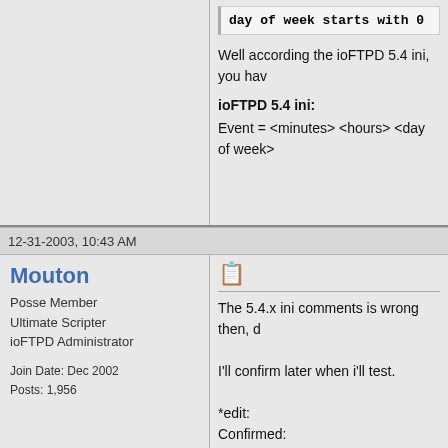day of week starts with 0
Well according the ioFTPD 5.4 ini, you hav
ioFTPD 5.4 ini:
Event = <minutes> <hours> <day of week>
12-31-2003, 10:43 AM
Mouton
Posse Member
Ultimate Scripter
ioFTPD Administrator

Join Date: Dec 2002
Posts: 1,956
The 5.4.x ini comments is wrong then, d
I'll confirm later when i'll test.
*edit:
Confirmed:
Newdate1 = 28 19 31 * EXEC ..\scripts\